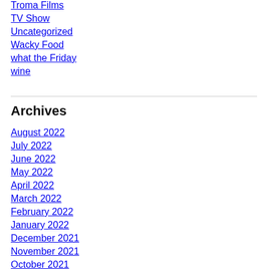Troma Films
TV Show
Uncategorized
Wacky Food
what the Friday
wine
Archives
August 2022
July 2022
June 2022
May 2022
April 2022
March 2022
February 2022
January 2022
December 2021
November 2021
October 2021